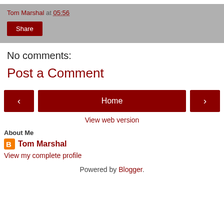Tom Marshal at 05:56
Share
No comments:
Post a Comment
[Figure (other): Navigation buttons: left arrow, Home, right arrow]
View web version
About Me
Tom Marshal
View my complete profile
Powered by Blogger.